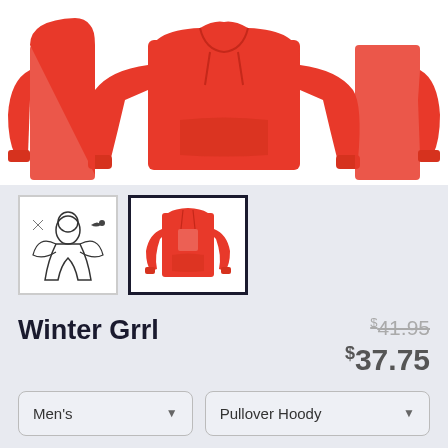[Figure (photo): Red pullover hoodie shown from front, back, and side angles on white background]
[Figure (photo): Thumbnail: black and white illustration of a winter girl character]
[Figure (photo): Thumbnail: red pullover hoodie with design on front, currently selected]
Winter Grrl
$41.95 (strikethrough) $37.75
Men's dropdown, Pullover Hoody dropdown
SELECT YOUR FIT
Fit button options